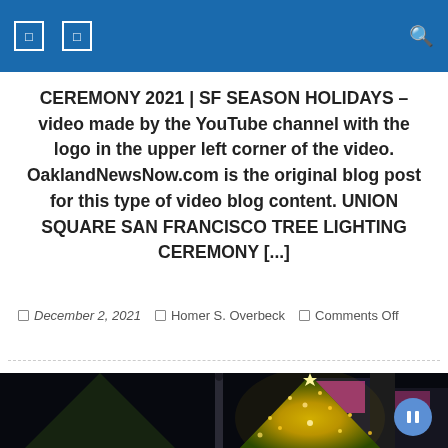Navigation header with icons
CEREMONY 2021 | SF SEASON HOLIDAYS – video made by the YouTube channel with the logo in the upper left corner of the video. OaklandNewsNow.com is the original blog post for this type of video blog content. UNION SQUARE SAN FRANCISCO TREE LIGHTING CEREMONY [...]
December 2, 2021   Homer S. Overbeck   Comments Off
[Figure (photo): Night photo of Union Square San Francisco tree lighting ceremony showing a large illuminated Christmas tree with golden lights against a dark sky, with a column monument visible and city buildings in the background]